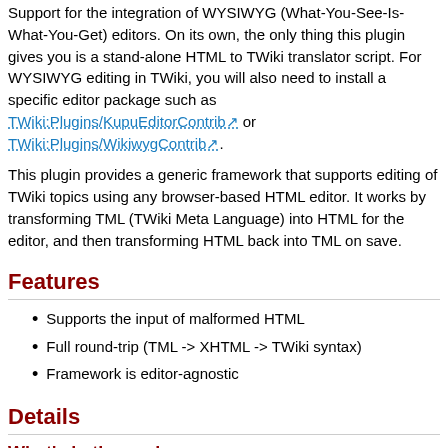Support for the integration of WYSIWYG (What-You-See-Is-What-You-Get) editors. On its own, the only thing this plugin gives you is a stand-alone HTML to TWiki translator script. For WYSIWYG editing in TWiki, you will also need to install a specific editor package such as TWiki:Plugins/KupuEditorContrib or TWiki:Plugins/WikiwygContrib.
This plugin provides a generic framework that supports editing of TWiki topics using any browser-based HTML editor. It works by transforming TML (TWiki Meta Language) into HTML for the editor, and then transforming HTML back into TML on save.
Features
Supports the input of malformed HTML
Full round-trip (TML -> XHTML -> TWiki syntax)
Framework is editor-agnostic
Details
What's in the package